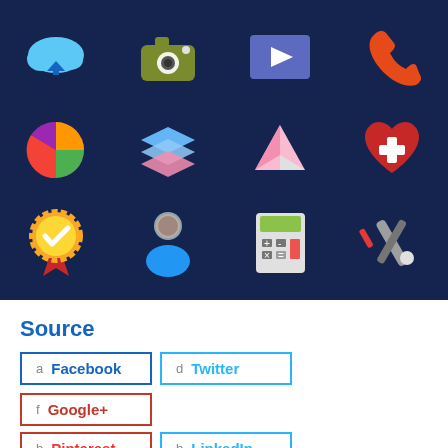[Figure (illustration): A 4x3 grid of colorful app icons on a dark navy blue background. Row 1: cloud download (blue), camera (olive/green), video play (purple/blue), phone (orange). Row 2: pie chart (multicolor), stacked layers (blue/pink), paper airplane (pink/beige), heart with plus (red). Row 3: award badge with checkmark (gold/red), user/person (blue), calculator (green/white), wrench and screwdriver tools (gray/red).]
Source
a  Facebook
d  Twitter
f  Google+
b  Pinterest
b  LinkedIn